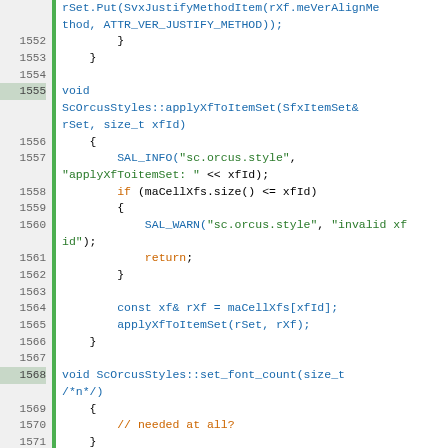[Figure (screenshot): Source code viewer showing C++ code for ScOrcusStyles class methods, lines 1552-1579, with line numbers, green vertical bar indicator, and syntax highlighting in blue, orange, and green colors on white background.]